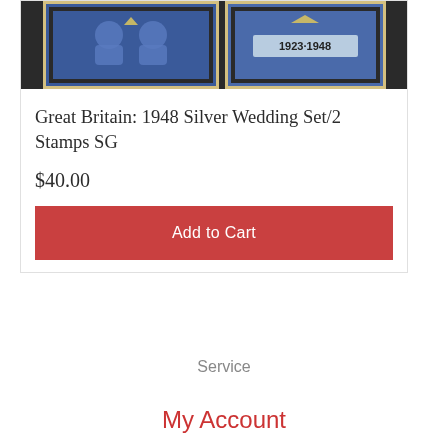[Figure (photo): Two blue British postage stamps from 1948 Silver Wedding set, side by side on dark background. Left stamp shows royal couple, right stamp shows '1923-1948' inscription.]
Great Britain: 1948 Silver Wedding Set/2 Stamps SG
$40.00
Add to Cart
Service
My Account
Track Order